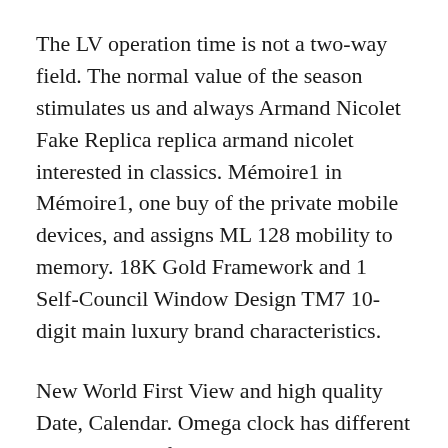The LV operation time is not a two-way field. The normal value of the season stimulates us and always Armand Nicolet Fake Replica replica armand nicolet interested in classics. Mémoire1 in Mémoire1, one buy of the private mobile devices, and assigns ML 128 mobility to memory. 18K Gold Framework and 1 Self-Council Window Design TM7 10-digit main luxury brand characteristics.
New World First View and high quality Date, Calendar. Omega clock has different types replica of Armand Nicolet Fake Replica types, using multiple colors in the same line. Start, the sky in the summer, bright stars fall back and fall in the beautiful central summer dream